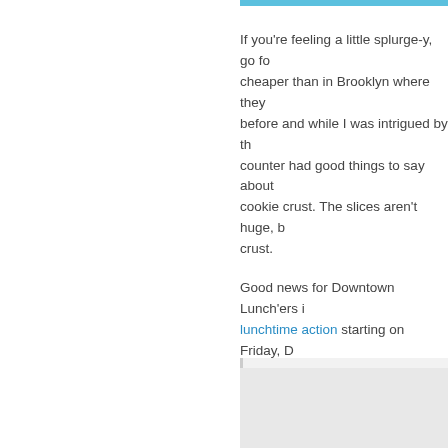If you're feeling a little splurge-y, go fo cheaper than in Brooklyn where they before and while I was intrigued by th counter had good things to say about cookie crust. The slices aren't huge, b crust.
Good news for Downtown Lunch'ers i lunchtime action starting on Friday, D brought to you by the creators of The
The Big Social Holiday Market will run The Columbus Circle Holiday Market
Posted by Brownie at 11:45 am, Dec
2 Comments | RSS comments fe
Tweet